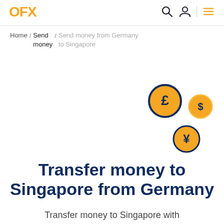OFX
Home / Send money / Send money from Germany to Singapore
[Figure (illustration): Three currency coin icons: a large dark-bordered gold coin with pound sterling symbol (£), a smaller gold coin with dollar symbol ($), and a gold coin with yen symbol (¥), arranged in a scattered pattern on the right side of the page]
Transfer money to Singapore from Germany
Transfer money to Singapore with